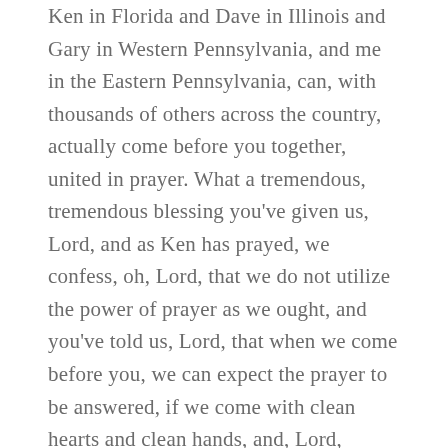Ken in Florida and Dave in Illinois and Gary in Western Pennsylvania, and me in the Eastern Pennsylvania, can, with thousands of others across the country, actually come before you together, united in prayer. What a tremendous, tremendous blessing you've given us, Lord, and as Ken has prayed, we confess, oh, Lord, that we do not utilize the power of prayer as we ought, and you've told us, Lord, that when we come before you, we can expect the prayer to be answered, if we come with clean hearts and clean hands, and, Lord, you've told us that if we regarded [inaudible 00:37:18] in our heart, you will not hear us. So, Lord, I admonish. I hope. I pray for all of us who are listening. We look in our own heart, and if we have unconfessed sin, if there's